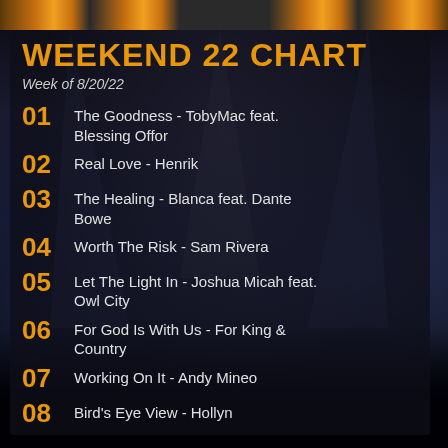WEEKEND 22 CHART
Week of 8/20/22
01  The Goodness - TobyMac feat. Blessing Offor
02  Real Love - Henrik
03  The Healing - Blanca feat. Dante Bowe
04  Worth The Risk - Sam Rivera
05  Let The Light In - Joshua Micah feat. Owl City
06  For God Is With Us - For King & Country
07  Working On It - Andy Mineo
08  Bird's Eye View - Hollyn